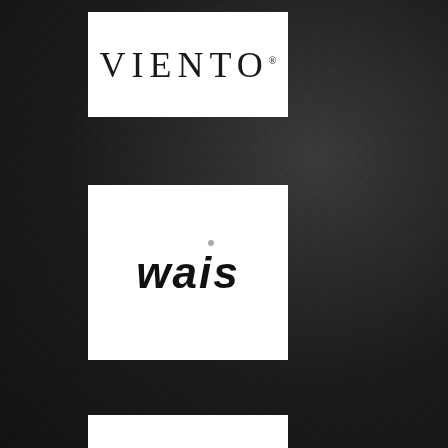[Figure (logo): VIENTO logo in serif uppercase letters on white background]
[Figure (logo): wais logo in bold italic sans-serif letters on white background with small dot above the 'i']
[Figure (logo): WATERSHED logo in small uppercase spaced serif letters on white background, partially visible]